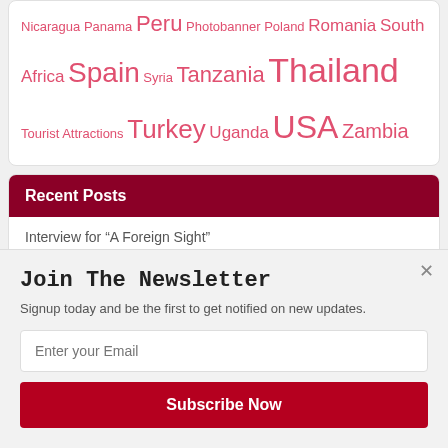Nicaragua Panama Peru Photobanner Poland Romania South Africa Spain Syria Tanzania Thailand Tourist Attractions Turkey Uganda USA Zambia
Recent Posts
Interview for “A Foreign Sight”
The Book is Ready!
A Christmas Message
Join The Newsletter
Signup today and be the first to get notified on new updates.